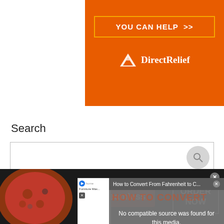[Figure (screenshot): Orange Direct Relief donation banner ad with 'YOU CAN HELP >>' button and Direct Relief logo in white]
Search
[Figure (screenshot): Search text input box with search icon circle on the right]
[Figure (screenshot): Video popup overlay: 'How to Convert From Fahrenheit to C...' with 'No compatible source was found for this media.' message, CELSIUS and FAHRENHEIT text visible, X close button]
[Figure (screenshot): Seamless food delivery bottom banner ad with pizza image, red Seamless logo, and 'ORDER NOW' button. Close X button at top right.]